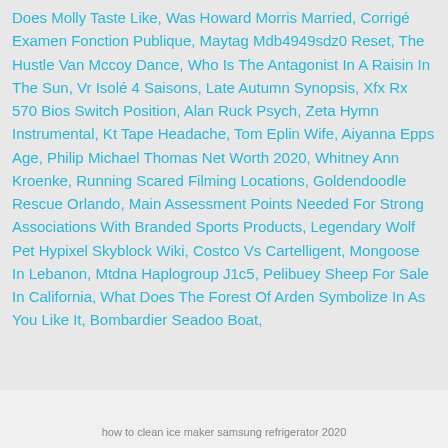Does Molly Taste Like, Was Howard Morris Married, Corrigé Examen Fonction Publique, Maytag Mdb4949sdz0 Reset, The Hustle Van Mccoy Dance, Who Is The Antagonist In A Raisin In The Sun, Vr Isolé 4 Saisons, Late Autumn Synopsis, Xfx Rx 570 Bios Switch Position, Alan Ruck Psych, Zeta Hymn Instrumental, Kt Tape Headache, Tom Eplin Wife, Aiyanna Epps Age, Philip Michael Thomas Net Worth 2020, Whitney Ann Kroenke, Running Scared Filming Locations, Goldendoodle Rescue Orlando, Main Assessment Points Needed For Strong Associations With Branded Sports Products, Legendary Wolf Pet Hypixel Skyblock Wiki, Costco Vs Cartelligent, Mongoose In Lebanon, Mtdna Haplogroup J1c5, Pelibuey Sheep For Sale In California, What Does The Forest Of Arden Symbolize In As You Like It, Bombardier Seadoo Boat,
how to clean ice maker samsung refrigerator 2020